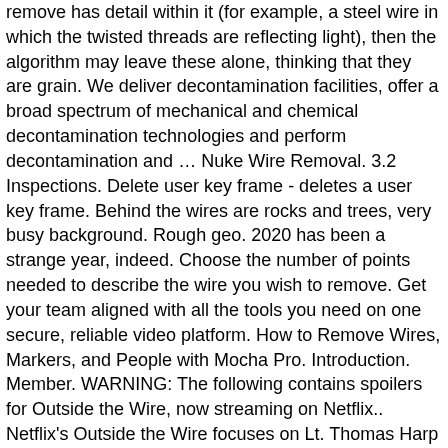remove has detail within it (for example, a steel wire in which the twisted threads are reflecting light), then the algorithm may leave these alone, thinking that they are grain. We deliver decontamination facilities, offer a broad spectrum of mechanical and chemical decontamination technologies and perform decontamination and ... Nuke Wire Removal. 3.2 Inspections. Delete user key frame - deletes a user key frame. Behind the wires are rocks and trees, very busy background. Rough geo. 2020 has been a strange year, indeed. Choose the number of points needed to describe the wire you wish to remove. Get your team aligned with all the tools you need on one secure, reliable video platform. How to Remove Wires, Markers, and People with Mocha Pro. Introduction. Member. WARNING: The following contains spoilers for Outside the Wire, now streaming on Netflix.. Netflix's Outside the Wire focuses on Lt. Thomas Harp (Damson Idris), a drone pilot who's sent to Eastern Europe after ignoring orders and launching a Hellfire airstrike that killed two young marines. The position of the start point on the wire. Track backwards - plays backwards through the sequence tracking from frame to frame. This tracker has its own control panel, which will float inside the Viewer if you have checked Show On Screen Controls in the F_WireRemoval controls. All of this is punctuated by